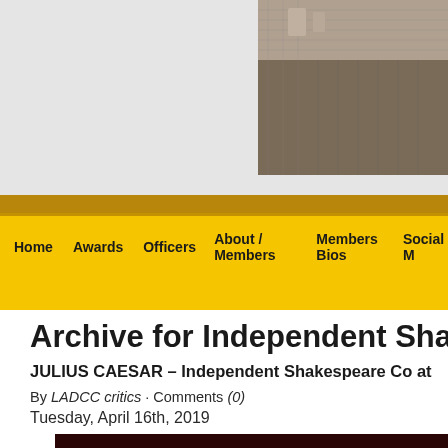[Figure (photo): Top area with light gray background and a photo on the right showing what appears to be a theater stage floor/equipment]
Home  Awards  Officers  About / Members  Members Bios  Social M
Archive for Independent Shakespe
JULIUS CAESAR – Independent Shakespeare Co at
By LADCC critics · Comments (0)
Tuesday, April 16th, 2019
[Figure (photo): Bottom preview image showing dark red/black theater scene]